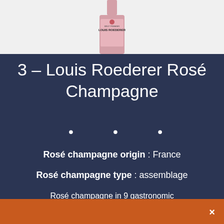[Figure (photo): Louis Roederer champagne bottle with pink/rosé label, showing bottom portion of bottle against light background]
3 – Louis Roederer Rosé Champagne
• • •
Rosé champagne origin : France
Rosé champagne type : assemblage
Rosé champagne in 9 gastronomic starred restaurants